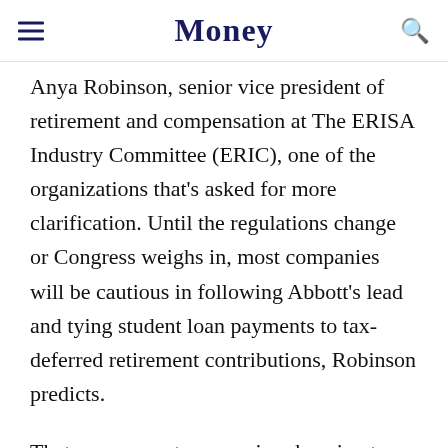Money
Anya Robinson, senior vice president of retirement and compensation at The ERISA Industry Committee (ERIC), one of the organizations that's asked for more clarification. Until the regulations change or Congress weighs in, most companies will be cautious in following Abbott's lead and tying student loan payments to tax-deferred retirement contributions, Robinson predicts.
That means most companies choosing to add a student loan benefit will stick to a taxable contribution outside of the actual